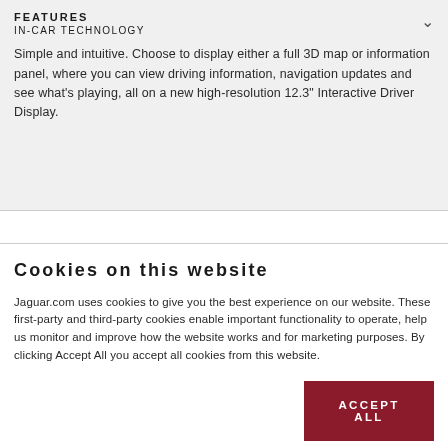FEATURES
IN-CAR TECHNOLOGY
Simple and intuitive. Choose to display either a full 3D map or information panel, where you can view driving information, navigation updates and see what's playing, all on a new high-resolution 12.3" Interactive Driver Display.
Cookies on this website
Jaguar.com uses cookies to give you the best experience on our website. These first-party and third-party cookies enable important functionality to operate, help us monitor and improve how the website works and for marketing purposes. By clicking Accept All you accept all cookies from this website.